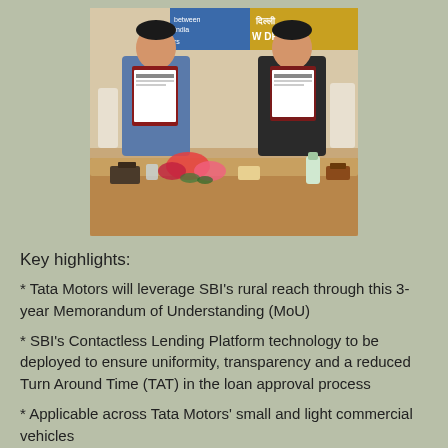[Figure (photo): Two men in formal attire holding document folders, seated at a conference table with flowers and items on it; a banner in the background reads 'between India' and 'New Delhi' in Hindi and English.]
Key highlights:
* Tata Motors will leverage SBI's rural reach through this 3-year Memorandum of Understanding (MoU)
* SBI's Contactless Lending Platform technology to be deployed to ensure uniformity, transparency and a reduced Turn Around Time (TAT) in the loan approval process
* Applicable across Tata Motors' small and light commercial vehicles